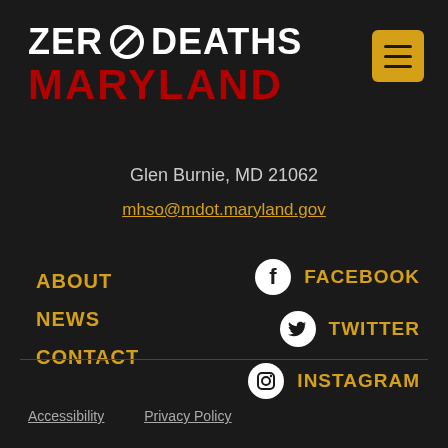ZERO DEATHS MARYLAND
[Figure (logo): Hamburger menu button icon, gold/yellow background]
Glen Burnie, MD 21062
mhso@mdot.maryland.gov
ABOUT
NEWS
CONTACT
FACEBOOK
TWITTER
INSTAGRAM
Accessibility   Privacy Policy